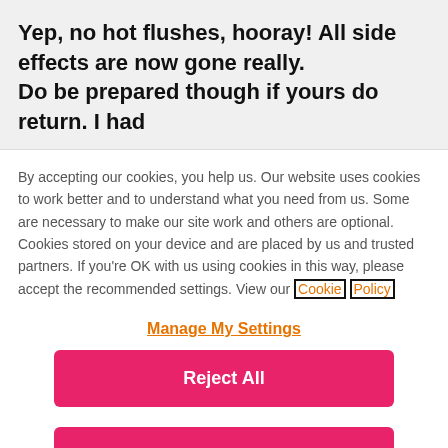Yep, no hot flushes, hooray! All side effects are now gone really. Do be prepared though if yours do return. I had
By accepting our cookies, you help us. Our website uses cookies to work better and to understand what you need from us. Some are necessary to make our site work and others are optional. Cookies stored on your device and are placed by us and trusted partners. If you're OK with us using cookies in this way, please accept the recommended settings. View our Cookie Policy
Manage My Settings
Reject All
Accept All Cookies